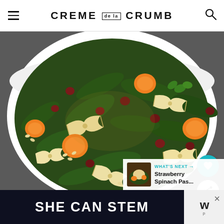CREME DE LA CRUMB
[Figure (photo): Close-up photo of a large white bowl containing a pasta salad with bowtie/farfalle pasta, fresh spinach leaves, mandarin orange segments, dried cranberries, pine nuts, and cilantro. The salad appears to have a light dressing. The bowl is set on a grey surface.]
WHAT'S NEXT → Strawberry Spinach Pas...
SHE CAN STEM